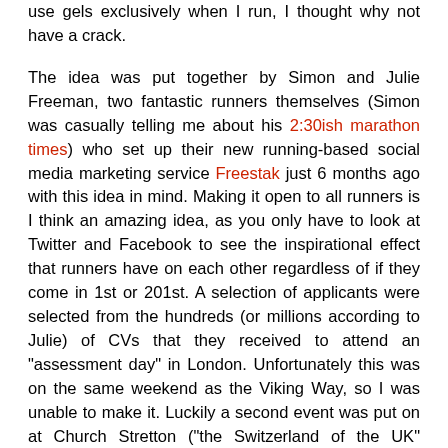use gels exclusively when I run, I thought why not have a crack.
The idea was put together by Simon and Julie Freeman, two fantastic runners themselves (Simon was casually telling me about his 2:30ish marathon times) who set up their new running-based social media marketing service Freestak just 6 months ago with this idea in mind. Making it open to all runners is I think an amazing idea, as you only have to look at Twitter and Facebook to see the inspirational effect that runners have on each other regardless of if they come in 1st or 201st. A selection of applicants were selected from the hundreds (or millions according to Julie) of CVs that they received to attend an "assessment day" in London. Unfortunately this was on the same weekend as the Viking Way, so I was unable to make it. Luckily a second event was put on at Church Stretton ("the Switzerland of the UK" according to Drew Sheffield) over at Long Mynd in Shropshire.
I turned up a bit early to take advantage of the location and go out for a little run. After saying "hi" to Simon and getting